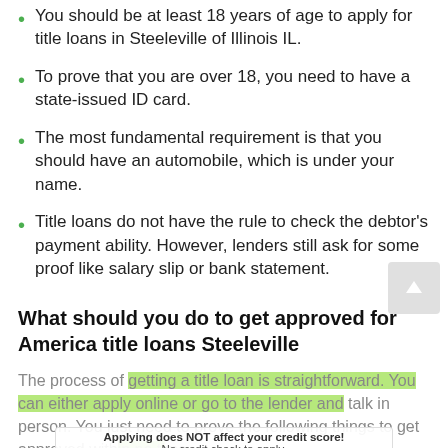You should be at least 18 years of age to apply for title loans in Steeleville of Illinois IL.
To prove that you are over 18, you need to have a state-issued ID card.
The most fundamental requirement is that you should have an automobile, which is under your name.
Title loans do not have the rule to check the debtor's payment ability. However, lenders still ask for some proof like salary slip or bank statement.
What should you do to get approved for America title loans Steeleville
The process of getting a title loan is straightforward. You can either apply online or go to the lender and talk in person. You just need to prove the following things to get approved within no time.
Applying does NOT affect your credit score!
No credit check to apply.